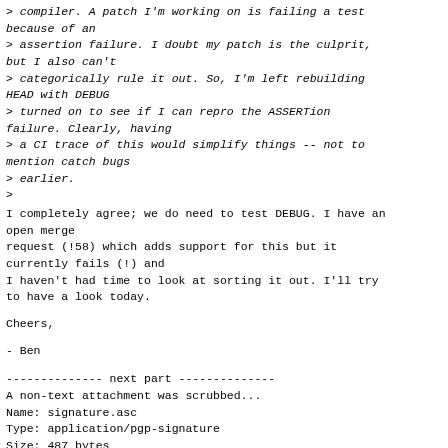> compiler. A patch I'm working on is failing a test because of an
> assertion failure. I doubt my patch is the culprit, but I also can't
> categorically rule it out. So, I'm left rebuilding HEAD with DEBUG
> turned on to see if I can repro the ASSERTion failure. Clearly, having
> a CI trace of this would simplify things -- not to mention catch bugs
> earlier.
>
I completely agree; we do need to test DEBUG. I have an open merge
request (!58) which adds support for this but it currently fails (!) and
I haven't had time to look at sorting it out. I'll try to have a look today.
Cheers,

- Ben
-------------- next part --------------
A non-text attachment was scrubbed...
Name: signature.asc
Type: application/pgp-signature
Size: 487 bytes
Desc: not available
URL: <http://mail.haskell.org/pipermail/ghc-...>